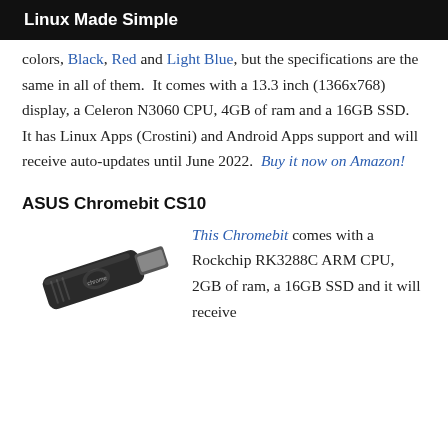Linux Made Simple
colors, Black, Red and Light Blue, but the specifications are the same in all of them.  It comes with a 13.3 inch (1366x768) display, a Celeron N3060 CPU, 4GB of ram and a 16GB SSD.  It has Linux Apps (Crostini) and Android Apps support and will receive auto-updates until June 2022.  Buy it now on Amazon!
ASUS Chromebit CS10
[Figure (photo): ASUS Chromebit CS10 USB stick device, black, with a USB connector]
This Chromebit comes with a Rockchip RK3288C ARM CPU, 2GB of ram, a 16GB SSD and it will receive